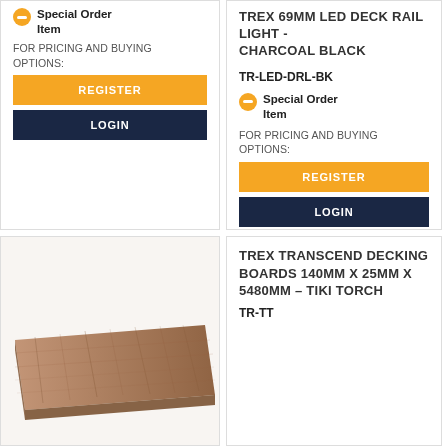Special Order Item
FOR PRICING AND BUYING OPTIONS:
REGISTER
LOGIN
TREX 69MM LED DECK RAIL LIGHT - CHARCOAL BLACK
TR-LED-DRL-BK
Special Order Item
FOR PRICING AND BUYING OPTIONS:
REGISTER
LOGIN
[Figure (photo): Photo of Trex Transcend decking board plank in Tiki Torch color, showing wood grain texture]
TREX TRANSCEND DECKING BOARDS 140MM X 25MM X 5480MM – TIKI TORCH
TR-TT